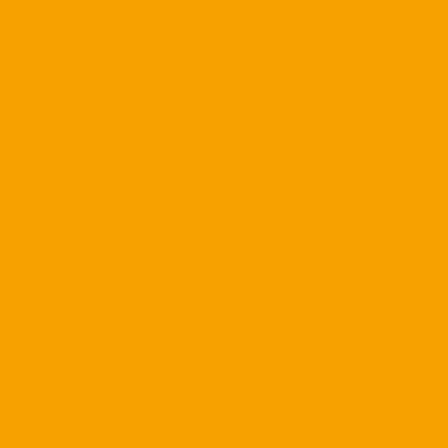did it yall! Congrats to you all
Posted by: bg1906 | June 07, 2009
[Figure (illustration): Spiral geometric avatar image]
thing is the DE's have to bea unblocked every down - som need to beat the WR blocks, then dwyer doesn't end up th rememeber the defense does the fullback, just a QB run, o he looks like he's gonna run t reason. keeps the defense u takes one guy to get out of p
Posted by: Esteban | June 07, 2009
[Figure (illustration): Network/web pattern avatar image]
You guys starting to get the i
NOTHING to do with stoppin EVERYTHING to do with pla
I could go on the entire game
Whipple scores a lot we win